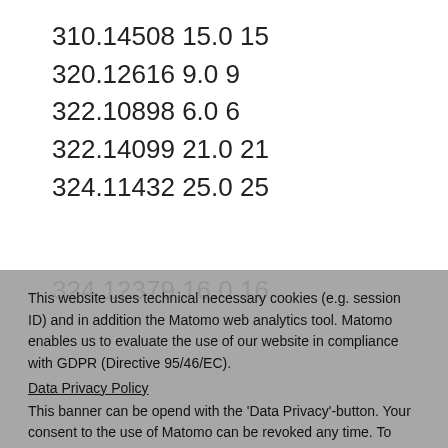310.14508 15.0 15
320.12616 9.0 9
322.10898 6.0 6
322.14099 21.0 21
324.11432 25.0 25
324.12379 16.0 16
This website uses technical necessary cookies (e.g. session ID) and in addition the Matomo web analytics tool. Matomo enables us to evaluate the use of our website in compliance with GDPR (Directive 95/46/EC).
Data Privacy Policy
This banner can be opend with the 'Data Privacy'-button. Your consent to the use of Matomo can be revoked any time. To make that choice, please un-check below.
Tracking is enabled. Click here to decline.
Ok